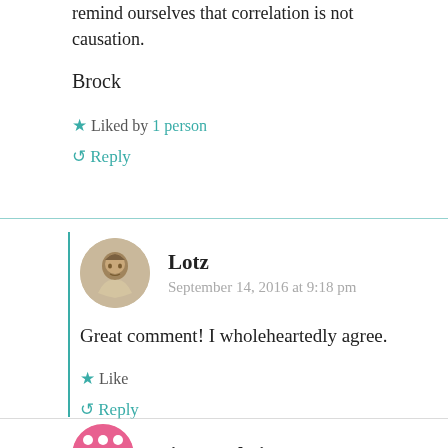remind ourselves that correlation is not causation.
Brock
★ Liked by 1 person
↺ Reply
Lotz
September 14, 2016 at 9:18 pm
Great comment! I wholeheartedly agree.
★ Like
↺ Reply
Witty Ludwig